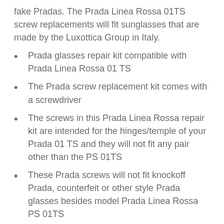fake Pradas. The Prada Linea Rossa 01TS screw replacements will fit sunglasses that are made by the Luxottica Group in Italy.
Prada glasses repair kit compatible with Prada Linea Rossa 01 TS
The Prada screw replacement kit comes with a screwdriver
The screws in this Prada Linea Rossa repair kit are intended for the hinges/temple of your Prada 01 TS and they will not fit any pair other than the PS 01TS
These Prada screws will not fit knockoff Prada, counterfeit or other style Prada glasses besides model Prada Linea Rossa PS 01TS
The screws in this eyeglass repair kit do not fit lenses frame, only the hinges/temples of the Prada PS 01TS.